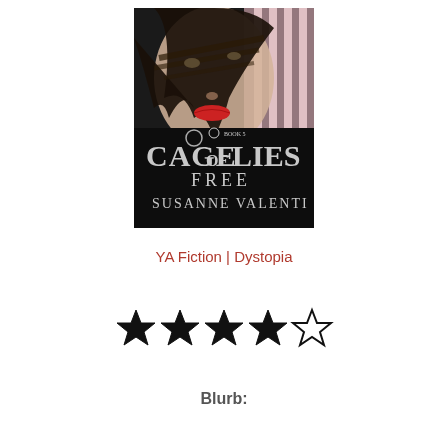[Figure (illustration): Book cover of 'Cage of Lies Book 5 Free' by Susanne Valenti, showing a close-up of a woman's face with dark hair, red lips, and decorative text.]
YA Fiction | Dystopia
[Figure (other): 4 out of 5 stars rating displayed as 4 filled black stars and 1 empty star outline.]
Blurb: